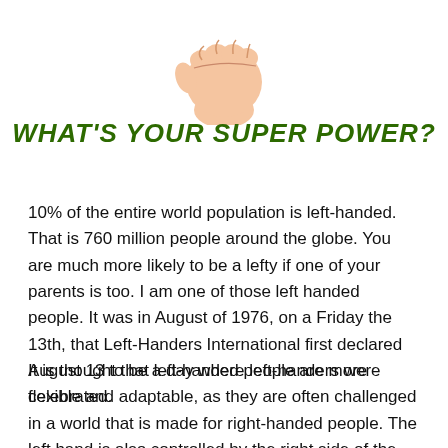[Figure (illustration): A cartoon fist/hand raised upward, drawn in a comic style with peach skin tones]
WHAT'S YOUR SUPER POWER?
10% of the entire world population is left-handed.  That is 760 million people around the globe. You are much more likely to be a lefty if one of your parents is too. I am one of those left handed people. It was in August of 1976, on a Friday the 13th, that Left-Handers International first declared August 13 to be a day where left-handers were celebrated.
It is thought that left-handed people are more flexible and adaptable, as they are often challenged in a world that is made for right-handed people. The left hand is also controlled by the right side of the brain, which is